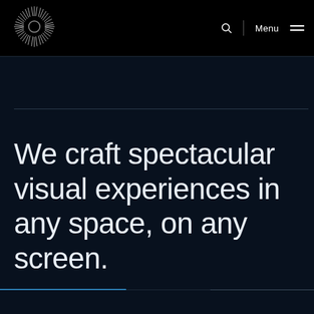[Figure (logo): Circular radial logo with thin white lines emanating from center, resembling an eye or sun, on black background]
Q  |  Menu  ≡
We craft spectacular visual experiences in any space, on any screen.